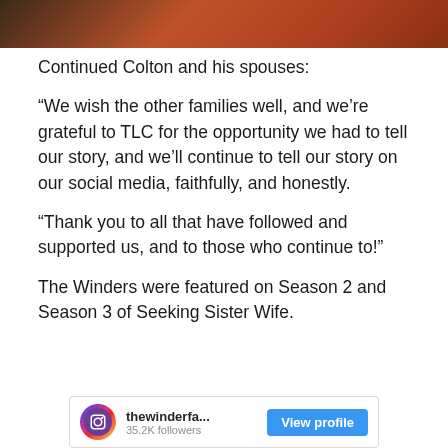[Figure (photo): Partial photo strip at top of page showing hair and background in warm orange/brown tones]
Continued Colton and his spouses:
“We wish the other families well, and we’re grateful to TLC for the opportunity we had to tell our story, and we’ll continue to tell our story on our social media, faithfully, and honestly.
“Thank you to all that have followed and supported us, and to those who continue to!”
The Winders were featured on Season 2 and Season 3 of Seeking Sister Wife.
[Figure (screenshot): Instagram widget showing thewinderfa... account with 35.2K followers and a View profile button]